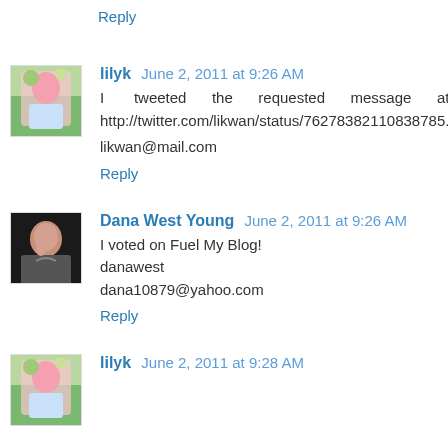Reply
lilyk June 2, 2011 at 9:26 AM
I tweeted the requested message at http://twitter.com/likwan/status/76278382110838785.
likwan@mail.com
Reply
Dana West Young June 2, 2011 at 9:26 AM
I voted on Fuel My Blog!
danawest
dana10879@yahoo.com
Reply
lilyk June 2, 2011 at 9:28 AM